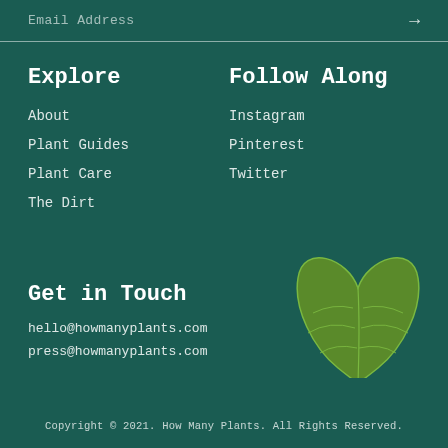Email Address →
Explore
About
Plant Guides
Plant Care
The Dirt
Follow Along
Instagram
Pinterest
Twitter
[Figure (illustration): A stylized heart-shaped green leaf illustration in the lower right area of the footer]
Get in Touch
hello@howmanyplants.com
press@howmanyplants.com
Copyright © 2021. How Many Plants. All Rights Reserved.